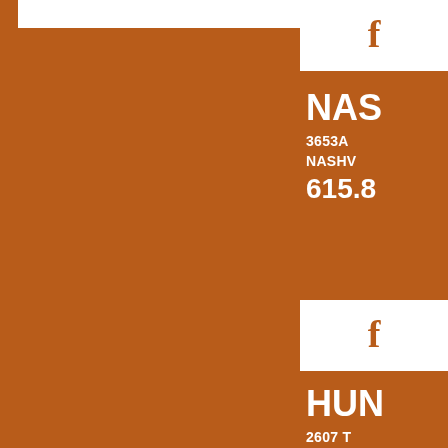[Figure (logo): White horizontal bar at top left, likely a logo area on orange background]
[Figure (illustration): Facebook icon 'f' in orange on white background, top right]
NAS
3653A
NASHV
615.8
[Figure (illustration): Facebook icon 'f' in orange on white background, middle right]
HUN
2607 T
HUNTS
256.8